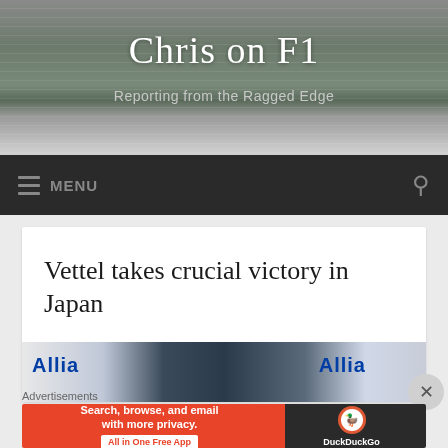Chris on F1
Reporting from the Ragged Edge
MENU
Vettel takes crucial victory in Japan
[Figure (photo): Photo of person near Allianz branding at F1 event]
Advertisements
[Figure (screenshot): DuckDuckGo advertisement: Search, browse, and email with more privacy. All in One Free App]